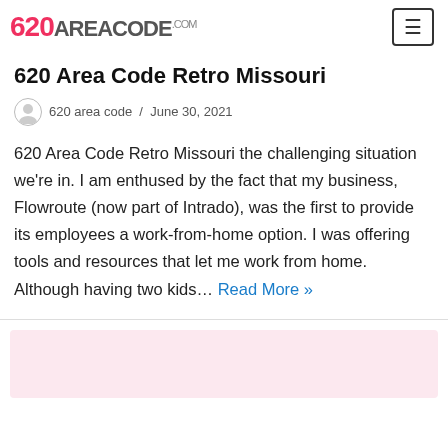620 Area Code .com
620 Area Code Retro Missouri
620 area code / June 30, 2021
620 Area Code Retro Missouri the challenging situation we're in. I am enthused by the fact that my business, Flowroute (now part of Intrado), was the first to provide its employees a work-from-home option. I was offering tools and resources that let me work from home. Although having two kids… Read More »